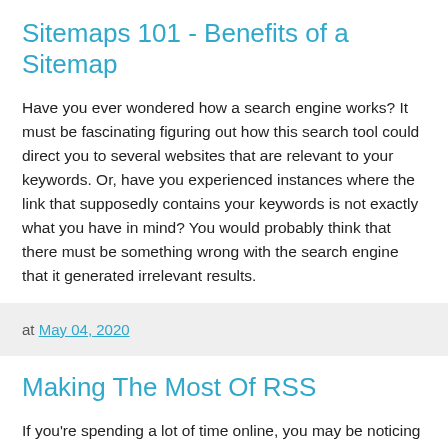Sitemaps 101 - Benefits of a Sitemap
Have you ever wondered how a search engine works? It must be fascinating figuring out how this search tool could direct you to several websites that are relevant to your keywords. Or, have you experienced instances where the link that supposedly contains your keywords is not exactly what you have in mind? You would probably think that there must be something wrong with the search engine that it generated irrelevant results.
at May 04, 2020
Making The Most Of RSS
If you're spending a lot of time online, you may be noticing a lot of websites with links to RSS feeds, and you may not be certain what these are. If you're looking for current information or if you want to provide information, you may be